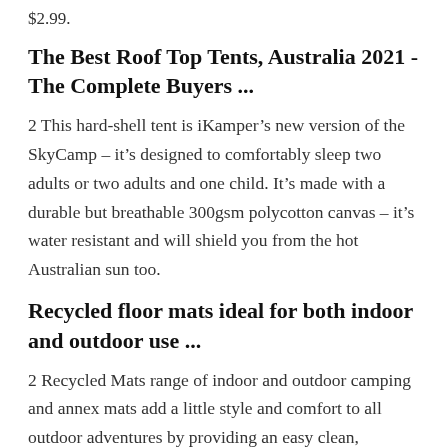$2.99.
The Best Roof Top Tents, Australia 2021 - The Complete Buyers ...
2 This hard-shell tent is iKamper’s new version of the SkyCamp – it’s designed to comfortably sleep two adults or two adults and one child. It’s made with a durable but breathable 300gsm polycotton canvas – it’s water resistant and will shield you from the hot Australian sun too.
Recycled floor mats ideal for both indoor and outdoor use ...
2 Recycled Mats range of indoor and outdoor camping and annex mats add a little style and comfort to all outdoor adventures by providing an easy clean, lightweight, practical and visually appealing space to spread out while you whittle away an evening round the campfire, sharing stories, playing the guitar, meals and of